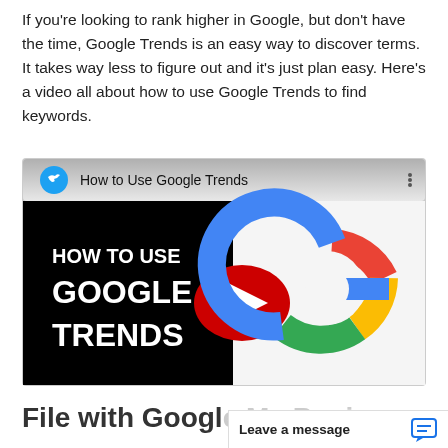If you're looking to rank higher in Google, but don't have the time, Google Trends is an easy way to discover terms. It takes way less to figure out and it's just plan easy. Here's a video all about how to use Google Trends to find keywords.
[Figure (screenshot): YouTube video thumbnail for 'How to Use Google Trends' showing a black background with white bold text 'HOW TO USE GOOGLE TRENDS', the YouTube play button (red circle with white triangle), and the Google 'G' logo in red, yellow, green, and blue colors. The video title bar at top shows 'How to Use Google Trends' with a blue bird icon and three-dot menu.]
File with Googl...